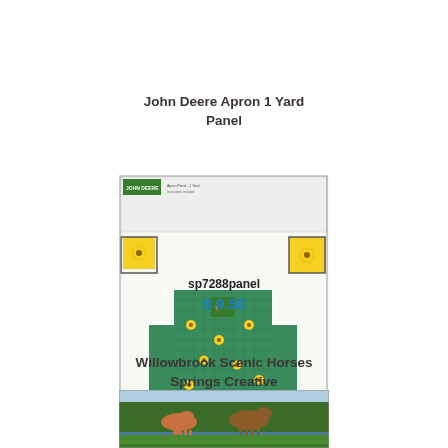John Deere Apron 1 Yard Panel
[Figure (photo): John Deere apron fabric panel showing a green and yellow checkered apron with sunflower pattern and John Deere logo, on white background with instruction panels at top]
sp7288panel
$ 9.50
Willowbrook Scenic Horses Springs Creative
[Figure (photo): Willowbrook Scenic Horses Springs Creative fabric panel showing horses grazing near water with green landscape background]